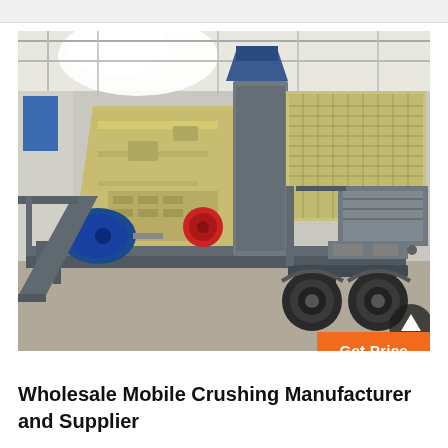[Figure (photo): Mobile crushing machine on a trailer inside an industrial warehouse. The machine has a large beige impact crusher body with a blue electric motor on the left, red circular element, gray frame structure, and mounted on a dual-axle trailer. The warehouse has a steel roof structure.]
Wholesale Mobile Crushing Manufacturer and Supplier